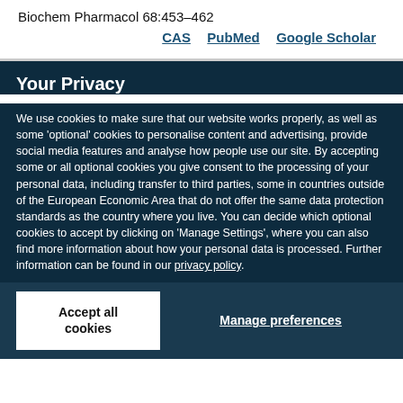Biochem Pharmacol 68:453–462
CAS   PubMed   Google Scholar
Your Privacy
We use cookies to make sure that our website works properly, as well as some 'optional' cookies to personalise content and advertising, provide social media features and analyse how people use our site. By accepting some or all optional cookies you give consent to the processing of your personal data, including transfer to third parties, some in countries outside of the European Economic Area that do not offer the same data protection standards as the country where you live. You can decide which optional cookies to accept by clicking on 'Manage Settings', where you can also find more information about how your personal data is processed. Further information can be found in our privacy policy.
Accept all cookies
Manage preferences